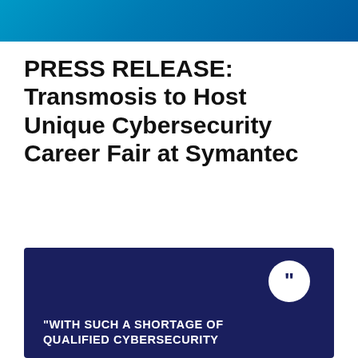PRESS RELEASE: Transmosis to Host Unique Cybersecurity Career Fair at Symantec
[Figure (illustration): Dark navy blue box with a white speech bubble icon containing a closing double-quotation mark in the upper right, and bold white uppercase text reading: "WITH SUCH A SHORTAGE OF QUALIFIED CYBERSECURITY"]